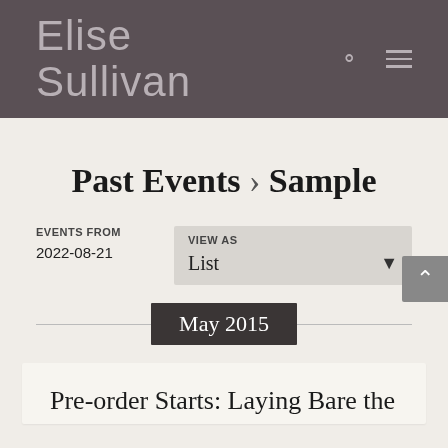Elise Sullivan
Past Events › Sample
EVENTS FROM
2022-08-21
VIEW AS
List
May 2015
Pre-order Starts: Laying Bare the